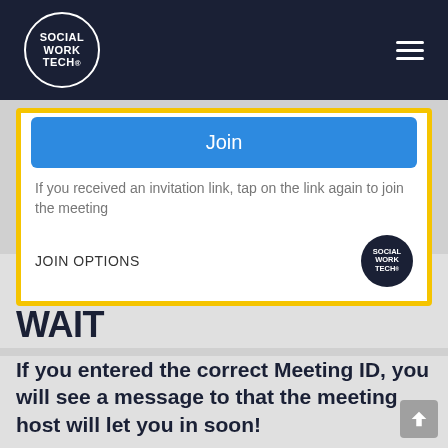Social Work Tech - Navigation
[Figure (screenshot): A mobile app screenshot showing a 'Join' button in blue, instruction text about using an invitation link, and a 'JOIN OPTIONS' row, all within a yellow-bordered frame.]
STEP 4: PATIENTLY WAIT
If you entered the correct Meeting ID, you will see a message to that the meeting host will let you in soon!